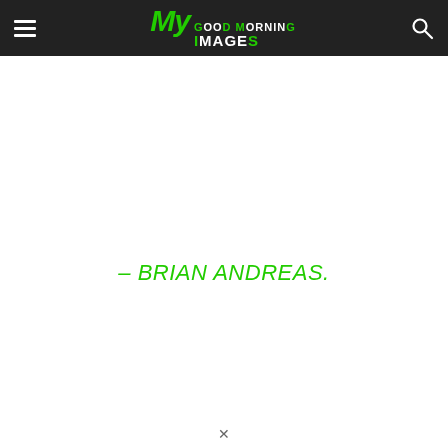My Good Morning Images
– BRIAN ANDREAS.